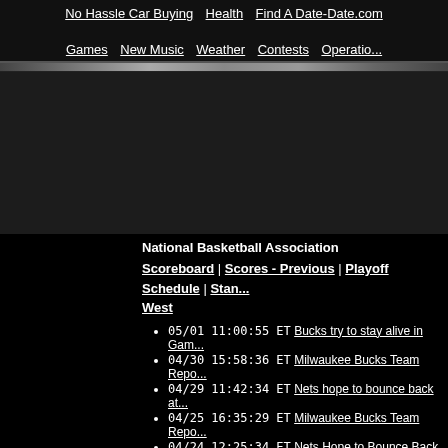No Hassle Car Buying   Health   Find A Date-Date.com   Games   New Music   Weather   Contests   Operation
[Figure (other): Navigation divider bar with gradient stripe]
[Figure (other): Advertisement banner area, dark/black background]
National Basketball Association
Scoreboard | Scores - Previous | Playoff Schedule | Standings West
05/01 11:00:55 ET Bucks try to stay alive in Gam...
04/30 15:58:36 ET Milwaukee Bucks Team Repo...
04/29 11:42:34 ET Nets hope to bounce back at...
04/25 16:35:29 ET Milwaukee Bucks Team Repo...
04/24 12:25:34 ET Nets Hope to Bounce Back at...
04/23 17:38:58 ET Milwaukee Bucks Team Repo...
04/23 03:18:57 ET Bucks head home even in be...
04/22 10:59:09 ET Bucks seek equalizer
04/20 00:43:11 ET A trio of Bucks surrender to po...
04/19 16:03:24 ET Kidd rocks Bucks in playoff op...
04/18 16:31:08 ET NBA Playoff Preview Milwaukee... Nets (2)
04/17 16:37:22 ET Milwaukee Bucks Team Repo...
04/16 12:02:19 ET Magic, Bucks battle for East's...
04/14 16:53:18 ET Milwaukee Bucks Team Repo...
04/12 13:31:20 ET Bucks' Trends: Charging into...
04/11 13:28:00 ET Bucks...